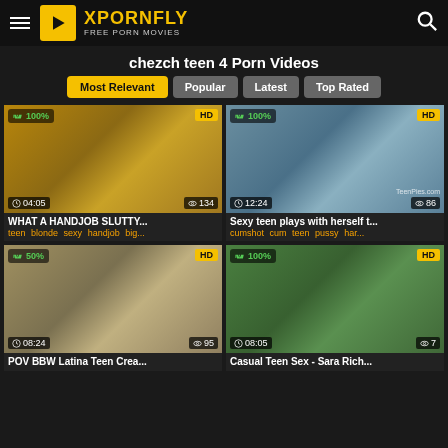XPORNFLY FREE PORN MOVIES
chezch teen 4 Porn Videos
Most Relevant | Popular | Latest | Top Rated
[Figure (screenshot): Video thumbnail 1: 100% like rating, HD, duration 04:05, 134 views. Title: WHAT A HANDJOB SLUTTY... Tags: teen blonde sexy handjob big...]
[Figure (screenshot): Video thumbnail 2: 100% like rating, HD, duration 12:24, 86 views. Title: Sexy teen plays with herself t... Tags: cumshot cum teen pussy har...]
[Figure (screenshot): Video thumbnail 3: 50% like rating, HD, duration 08:24, 95 views. Title: POV BBW Latina Teen Crea... Tags visible]
[Figure (screenshot): Video thumbnail 4: 100% like rating, HD, duration 08:05, 7 views. Title: Casual Teen Sex - Sara Rich... Tags visible]